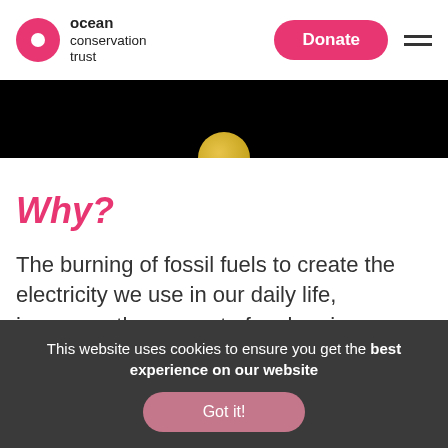ocean conservation trust — Donate
[Figure (photo): Black background image strip with a partial gold/yellow circle visible at the bottom center]
Why?
The burning of fossil fuels to create the electricity we use in our daily life, increases the amount of carbon in our atmosphere. This
This website uses cookies to ensure you get the best experience on our website
Got it!